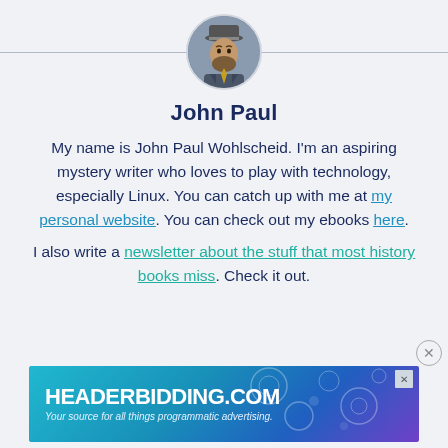[Figure (photo): Circular avatar photo of a man wearing a hat and suit with a tie, shown from shoulders up]
John Paul
My name is John Paul Wohlscheid. I'm an aspiring mystery writer who loves to play with technology, especially Linux. You can catch up with me at my personal website. You can check out my ebooks here.
I also write a newsletter about the stuff that most history books miss. Check it out.
[Figure (other): Advertisement banner for HEADERBIDDING.COM with text 'Your source for all things programmatic advertising.' on a teal-to-purple gradient background with circular dot pattern]